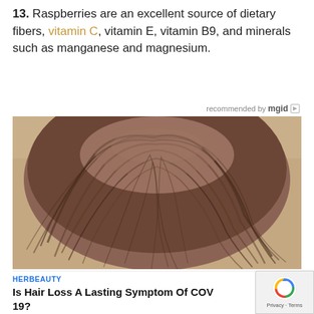13. Raspberries are an excellent source of dietary fibers, vitamin C, vitamin E, vitamin B9, and minerals such as manganese and magnesium.
recommended by mgid
[Figure (photo): Top-down view of a person's head showing thinning hair/hair loss, with brown hair against a beige background]
HERBEAUTY
Is Hair Loss A Lasting Symptom Of COV 19?